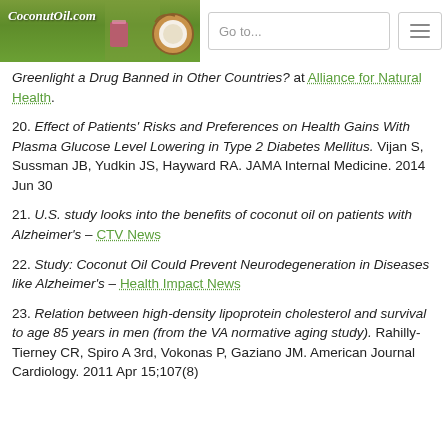CoconutOil.com | Go to...
Greenlight a Drug Banned in Other Countries? at Alliance for Natural Health.
20. Effect of Patients' Risks and Preferences on Health Gains With Plasma Glucose Level Lowering in Type 2 Diabetes Mellitus. Vijan S, Sussman JB, Yudkin JS, Hayward RA. JAMA Internal Medicine. 2014 Jun 30
21. U.S. study looks into the benefits of coconut oil on patients with Alzheimer's – CTV News
22. Study: Coconut Oil Could Prevent Neurodegeneration in Diseases like Alzheimer's – Health Impact News
23. Relation between high-density lipoprotein cholesterol and survival to age 85 years in men (from the VA normative aging study). Rahilly-Tierney CR, Spiro A 3rd, Vokonas P, Gaziano JM. American Journal Cardiology. 2011 Apr 15;107(8)